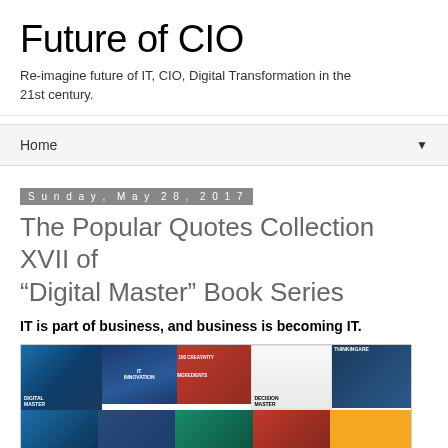Future of CIO
Re-imagine future of IT, CIO, Digital Transformation in the 21st century.
Home ▼
Sunday, May 28, 2017
The Popular Quotes Collection XVII of “Digital Master” Book Series
IT is part of business, and business is becoming IT.
[Figure (photo): Grid of book covers from the Digital Master book series including Digital Master, IT Innovation, 100 Creativity Ingredients, Decision Master, ThinkingAre, and Digital IT among others]